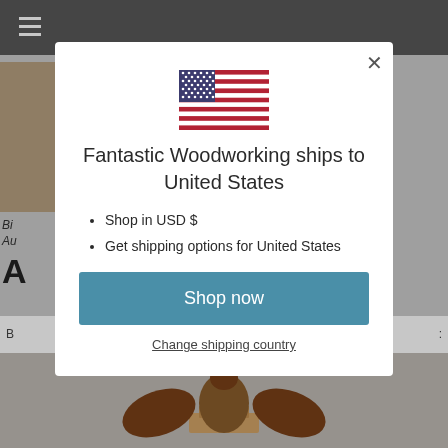[Figure (screenshot): Website background with dark top navigation bar, hamburger menu icon, partial product listing text and image, and bottom product image area, all dimmed by modal overlay]
[Figure (illustration): US flag SVG icon displayed at top of modal]
Fantastic Woodworking ships to United States
Shop in USD $
Get shipping options for United States
Shop now
Change shipping country